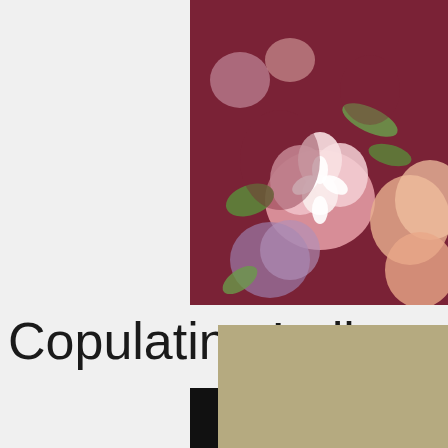[Figure (photo): Close-up photo of floral fabric with pink, white, purple, and orange flowers on a dark maroon/burgundy background with green leaves]
Copulating Indian
[Figure (photo): Partial screenshot of a video showing a room interior with a pink object and a person partially visible, overlaid with a tan/khaki colored card element]